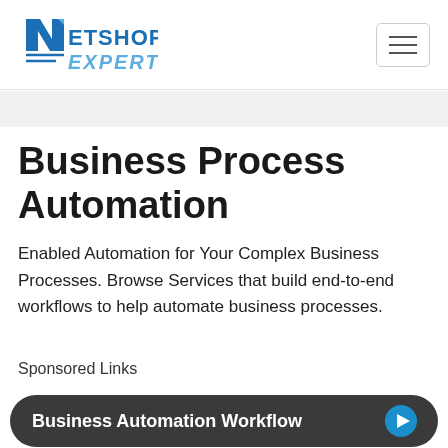NetShop Expert
Business Process Automation
Enabled Automation for Your Complex Business Processes. Browse Services that build end-to-end workflows to help automate business processes.
Sponsored Links
Business Automation Workflow